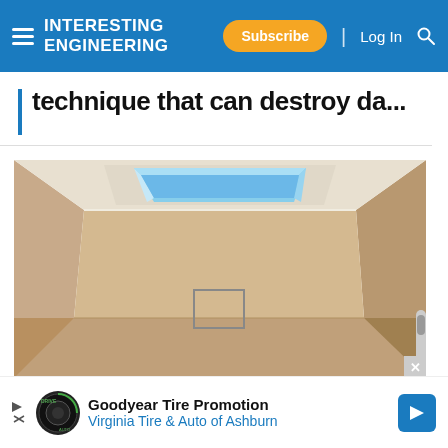INTERESTING ENGINEERING — Subscribe | Log In
technique that can destroy da...
[Figure (photo): Interior room with white ceiling featuring a large skylight opening showing blue sky, beige/tan walls, and a small framed item on the far wall]
Goodyear Tire Promotion Virginia Tire & Auto of Ashburn